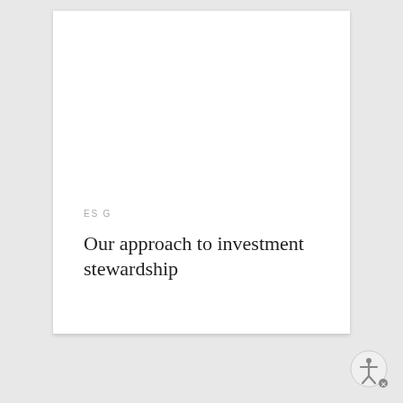ES G
Our approach to investment stewardship